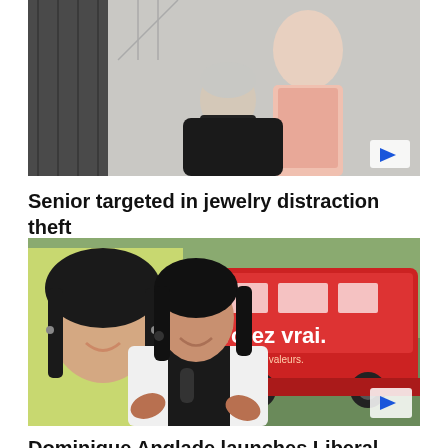[Figure (photo): Video thumbnail showing two people, one in a pink shirt and another with grey/white hair, appearing to interact closely. A blue play button is visible in the bottom-right corner.]
Senior targeted in jewelry distraction theft
[Figure (photo): Photo of Dominique Anglade, a woman with dark hair wearing a white blazer and black top, speaking and gesturing with her hands. Behind her is a large red campaign bus with the text 'Votez vrai.' visible, and a campaign billboard showing her face.]
Dominique Anglade launches Liberal campaign